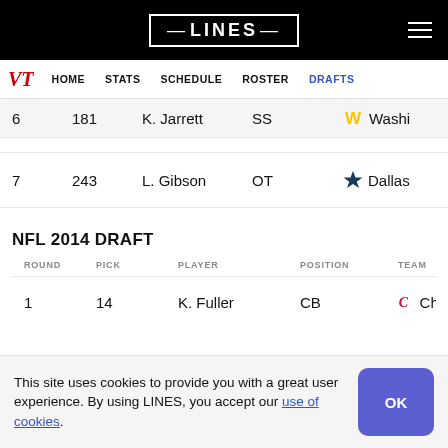LINES
HOME STATS SCHEDULE ROSTER DRAFTS
| ROUND | PICK | PLAYER | POSITION | TEAM |
| --- | --- | --- | --- | --- |
| 6 | 181 | K. Jarrett | SS | Washington |
| 7 | 243 | L. Gibson | OT | Dallas |
NFL 2014 DRAFT
| ROUND | PICK | PLAYER | POSITION | TEAM |
| --- | --- | --- | --- | --- |
| 1 | 14 | K. Fuller | CB | Chicago |
This site uses cookies to provide you with a great user experience. By using LINES, you accept our use of cookies.